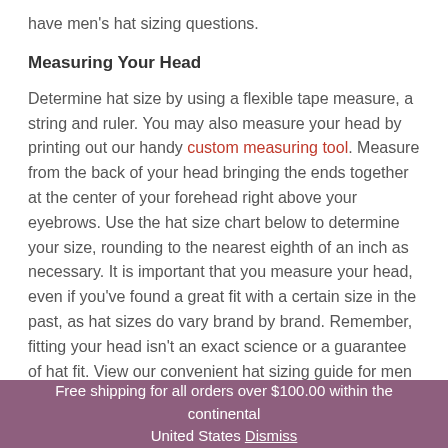have men's hat sizing questions.
Measuring Your Head
Determine hat size by using a flexible tape measure, a string and ruler. You may also measure your head by printing out our handy custom measuring tool. Measure from the back of your head bringing the ends together at the center of your forehead right above your eyebrows. Use the hat size chart below to determine your size, rounding to the nearest eighth of an inch as necessary. It is important that you measure your head, even if you've found a great fit with a certain size in the past, as hat sizes do vary brand by brand. Remember, fitting your head isn't an exact science or a guarantee of hat fit. View our convenient hat sizing guide for men and women for
Free shipping for all orders over $100.00 within the continental United States Dismiss